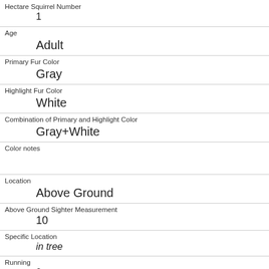| Field | Value |
| --- | --- |
| Hectare Squirrel Number | 1 |
| Age | Adult |
| Primary Fur Color | Gray |
| Highlight Fur Color | White |
| Combination of Primary and Highlight Color | Gray+White |
| Color notes |  |
| Location | Above Ground |
| Above Ground Sighter Measurement | 10 |
| Specific Location | in tree |
| Running | 0 |
| Chasing |  |